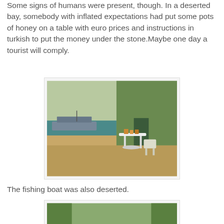Some signs of humans were present, though. In a deserted bay, somebody with inflated expectations had put some pots of honey on a table with euro prices and instructions in turkish to put the money under the stone.Maybe one day a tourist will comply.
[Figure (photo): A rocky deserted bay shore with a white plastic table and chairs in the foreground, honey pots on the table. A boat is visible on the water in the background, with green hillside trees.]
The fishing boat was also deserted.
[Figure (photo): A wooden suspension bridge over a river or lake, with rope railings on both sides, extending into the distance. Green trees visible on either side.]